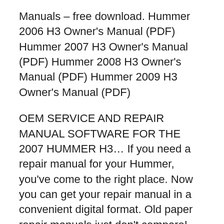Manuals – free download. Hummer 2006 H3 Owner's Manual (PDF) Hummer 2007 H3 Owner's Manual (PDF) Hummer 2008 H3 Owner's Manual (PDF) Hummer 2009 H3 Owner's Manual (PDF)
OEM SERVICE AND REPAIR MANUAL SOFTWARE FOR THE 2007 HUMMER H3… If you need a repair manual for your Hummer, you've come to the right place. Now you can get your repair manual in a convenient digital format. Old paper repair manuals just don't compare! This downloadable repair manual software covers the Hummer H3 and is perfect for any do-it-yourselfer. OEM SERVICE AND REPAIR MANUAL SOFTWARE FOR THE 2007 HUMMER H3… If you need a repair manual for your Hummer, you've